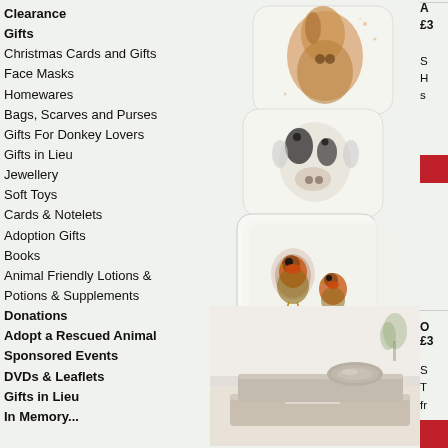Clearance
Gifts
Christmas Cards and Gifts
Face Masks
Homewares
Bags, Scarves and Purses
Gifts For Donkey Lovers
Gifts in Lieu
Jewellery
Soft Toys
Cards & Notelets
Adoption Gifts
Books
Animal Friendly Lotions & Potions & Supplements
Donations
Adopt a Rescued Animal
Sponsored Events
DVDs & Leaflets
Gifts in Lieu
In Memory...
[Figure (photo): Three decorative animal coasters stacked: top has a watercolour horse, middle has a watercolour cow, bottom has watercolour robins]
[Figure (photo): Stack of beige/linen folded towels on a light background]